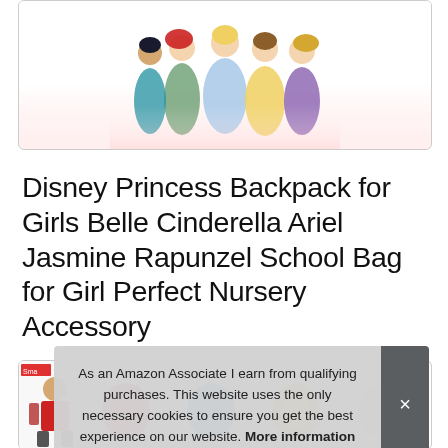[Figure (illustration): Partial view of Disney Princess product image showing cartoon characters (Disney princess characters) at the top, with a white background fading to light red/pink at the bottom. Image is cropped at top showing upper portion only.]
Disney Princess Backpack for Girls Belle Cinderella Ariel Jasmine Rapunzel School Bag for Girl Perfect Nursery Accessory
[Figure (photo): Bottom portion showing product thumbnail images: left side shows a partial product listing with a child model wearing a red outfit/backpack, and a row of additional product thumbnails to the right.]
As an Amazon Associate I earn from qualifying purchases. This website uses the only necessary cookies to ensure you get the best experience on our website. More information